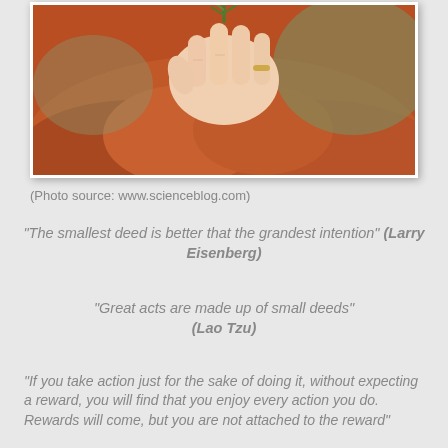[Figure (photo): Close-up photograph of a hand holding a small green sprig or herb against an orange/reddish fluffy background (possibly a dog or similar animal)]
(Photo source: www.scienceblog.com)
“The smallest deed is better that the grandest intention” (Larry Eisenberg)
“Great acts are made up of small deeds” (Lao Tzu)
“If you take action just for the sake of doing it, without expecting a reward, you will find that you enjoy every action you do. Rewards will come, but you are not attached to the reward”